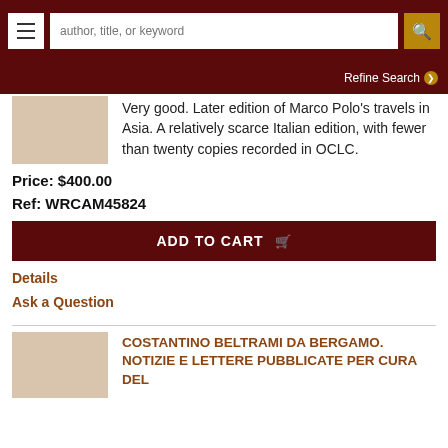author, title, or keyword | Refine Search
Very good. Later edition of Marco Polo's travels in Asia. A relatively scarce Italian edition, with fewer than twenty copies recorded in OCLC.
Price: $400.00
Ref: WRCAM45824
ADD TO CART
Details
Ask a Question
COSTANTINO BELTRAMI DA BERGAMO. NOTIZIE E LETTERE PUBBLICATE PER CURA DEL